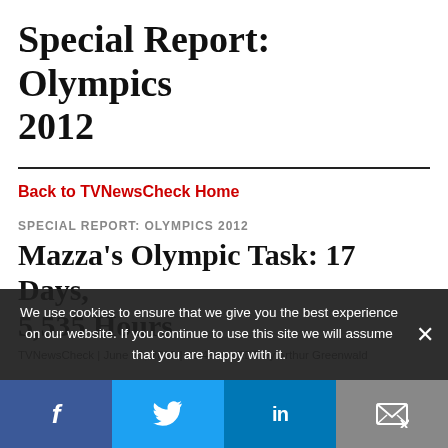Special Report: Olympics 2012
Back to TVNewsCheck Home
SPECIAL REPORT: OLYMPICS 2012
Mazza's Olympic Task: 17 Days, 5,535 Hours
TVNewsCheck | June 21, 2012 | 11:49 am EDT by Arthur Greenwald
We use cookies to ensure that we give you the best experience on our website. If you continue to use this site we will assume that you are happy with it.
[Figure (infographic): Social media sharing bar with Facebook, Twitter, LinkedIn, and email icons]